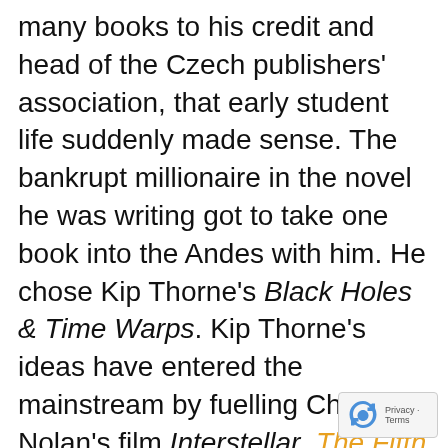many books to his credit and head of the Czech publishers' association, that early student life suddenly made sense. The bankrupt millionaire in the novel he was writing got to take one book into the Andes with him. He chose Kip Thorne's Black Holes & Time Warps. Kip Thorne's ideas have entered the mainstream by fuelling Chris Nolan's film Interstellar. The Fifth Dimension engages in a dialogue with the early Thorne book in a way I have never encountered in fiction.
There's much more in this book that I have not encountered in fiction. A translating norm is that you translate into your mother tongue. That ignores what a Conrad or a Nabokov can do for English. I wanted a translator who had advanced into English but lived through the same place and epoch as the author. Hana sent me the work